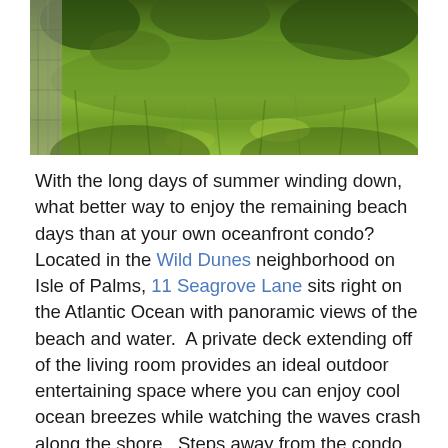[Figure (photo): Outdoor photo of dense green vegetation and grass, likely coastal dunes or marsh area, with a wooden walkway/boardwalk visible on the left edge.]
With the long days of summer winding down, what better way to enjoy the remaining beach days than at your own oceanfront condo?  Located in the Wild Dunes neighborhood on Isle of Palms, 11 Seagrove Lane sits right on the Atlantic Ocean with panoramic views of the beach and water.  A private deck extending off of the living room provides an ideal outdoor entertaining space where you can enjoy cool ocean breezes while watching the waves crash along the shore.  Steps away from the condo are amazing resort-style amenities including a private neighborhood pool, golf course, tennis courts and a boardwalk leading directly to the beach.